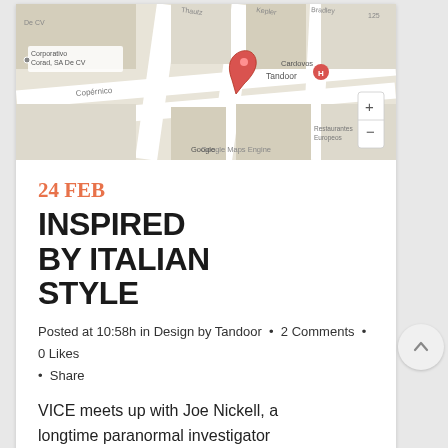[Figure (map): Google Maps Engine screenshot showing street map with a red pin marker labeled 'Tandoor', streets including Copérnico, Corporativo Corad SA De CV, Cardovos, Restaurantes Europeos labels, with zoom controls (+/-) on the right side.]
24 FEB
INSPIRED BY ITALIAN STYLE
Posted at 10:58h in Design by Tandoor • 2 Comments • 0 Likes • Share
VICE meets up with Joe Nickell, a longtime paranormal investigator